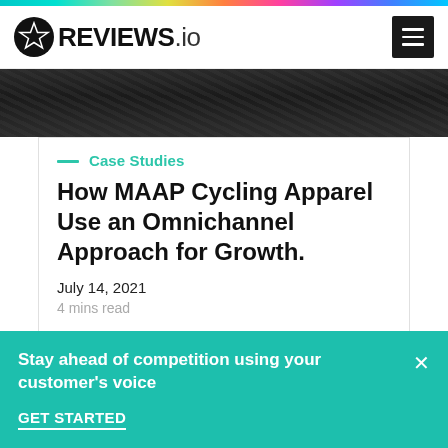[Figure (logo): REVIEWS.io logo with star icon on left and text REVIEWS.io on right]
[Figure (photo): Dark fabric/textile hero image background]
— Case Studies
How MAAP Cycling Apparel Use an Omnichannel Approach for Growth.
July 14, 2021
4 mins read
Stay ahead of competition using your customer's voice
GET STARTED